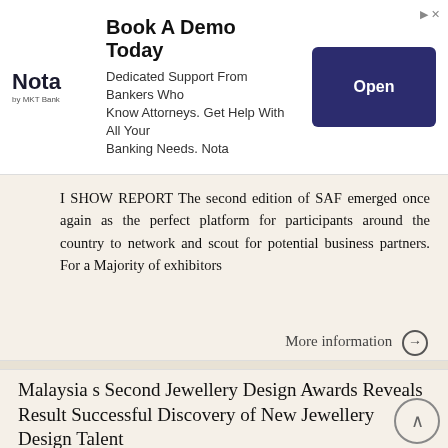[Figure (other): Advertisement banner for Nota by MKT Bank: Book A Demo Today. Dedicated Support From Bankers Who Know Attorneys. Get Help With All Your Banking Needs. Nota. Open button.]
SHOW REPORT The second edition of SAF emerged once again as the perfect platform for participants around the country to network and scout for potential business partners. For a Majority of exhibitors
More information →
Malaysia s Second Jewellery Design Awards Reveals Result Successful Discovery of New Jewellery Design Talent
FOR IMMEDIATE RELEASE Malaysia s Second Jewellery Design Awards Reveals Result Successful Discovery of New Jewellery Design Talent Kuala Lumpur, Malaysia: The most anticipated 2 nd MIJF Jewellery